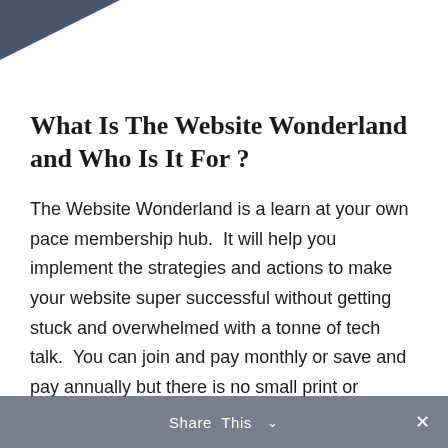[Figure (other): Dark slate-blue triangular corner decoration in the top-left corner of the page]
What Is The Website Wonderland and Who Is It For ?
The Website Wonderland is a learn at your own pace membership hub.  It will help you implement the strategies and actions to make your website super successful without getting stuck and overwhelmed with a tonne of tech talk.  You can join and pay monthly or save and pay annually but there is no small print or
Share This  ˅  ×